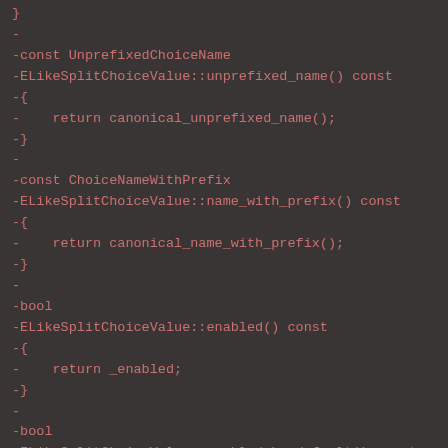Code diff showing C++ method definitions for ELikeSplitChoiceValue class including unprefixed_name(), name_with_prefix(), enabled(), and enabled_by_default() methods.